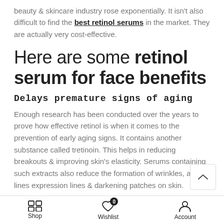beauty & skincare industry rose exponentially. It isn't also difficult to find the best retinol serums in the market. They are actually very cost-effective.
Here are some retinol serum for face benefits
Delays premature signs of aging
Enough research has been conducted over the years to prove how effective retinol is when it comes to the prevention of early aging signs. It contains another substance called tretinoin. This helps in reducing breakouts & improving skin's elasticity. Serums containing such extracts also reduce the formation of wrinkles, age lines expression lines & darkening patches on skin.
Shop  Wishlist  Account